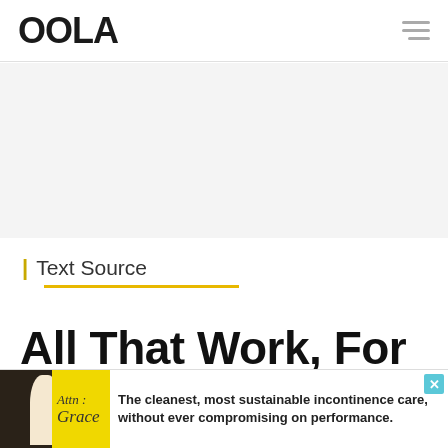OOLA
[Figure (other): Gray advertisement placeholder area]
| Text Source
All That Work, For Nothing
[Figure (photo): Partial photo of a person with blonde hair visible at bottom of page, above an advertisement banner]
Attn : Grace — The cleanest, most sustainable incontinence care, without ever compromising on performance.